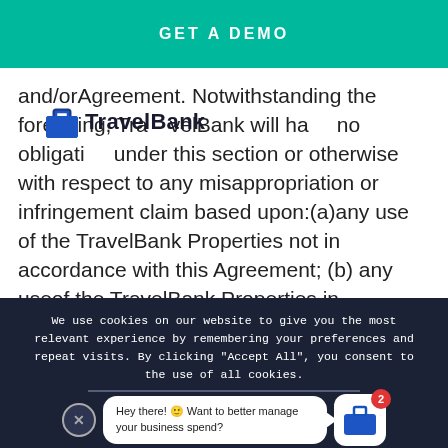GET A DEMO
and/orAgreement. Notwithstanding the foregoing, TravelBank will have no obligation under this section or otherwise with respect to any misappropriation or infringement claim based upon:(a)any use of the TravelBank Properties not in accordance with this Agreement; (b) any useof the TravelBank Properties in
[Figure (logo): TravelBank logo with briefcase icon and text 'TravelBank']
We use cookies on our website to give you the most relevant experience by remembering your preferences and repeat visits. By clicking "Accept All", you consent to the use of all cookies.
ACCEPT ALL
Hey there! 🙂 Want to better manage your business spend?
[Figure (logo): TravelBank app icon with briefcase and notification badge showing 2]